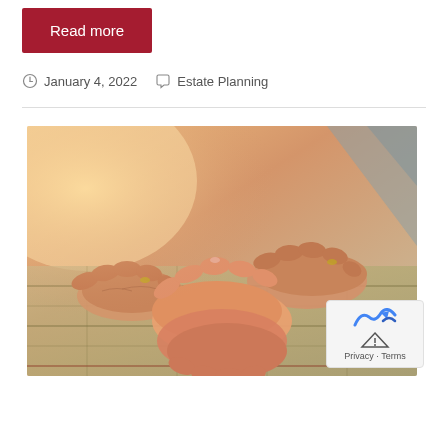Read more
January 4, 2022   Estate Planning
[Figure (photo): A younger person's hands gently holding the hands of an elderly person resting on a plaid blanket, warm tones of orange and gold light in the background.]